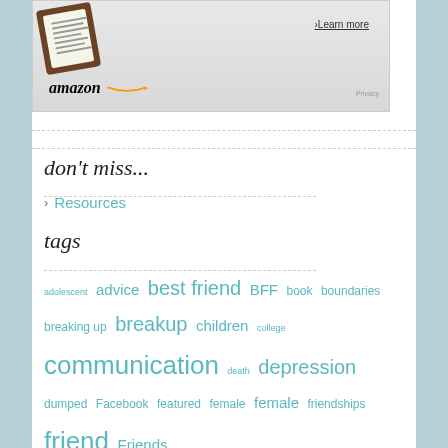[Figure (screenshot): Amazon Kindle advertisement with Kindle device image, 'Learn more' link, Amazon logo with smile, and Privacy text]
don't miss...
› Resources
tags
adolescent advice best friend BFF book boundaries breaking up breakup children college communication death depression dumped Facebook featured female female friendships friend Friends